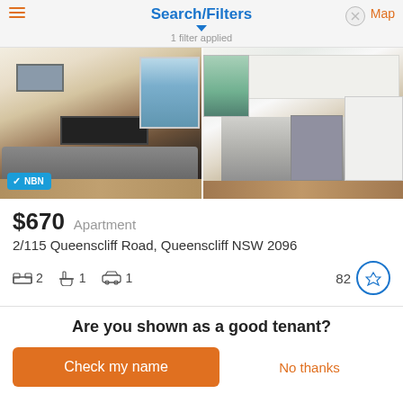Search/Filters
1 filter applied
[Figure (photo): Interior apartment photo showing living room with sofa, TV, dining area and kitchen with appliances. NBN badge in bottom left.]
$670  Apartment
2/115 Queenscliff Road, Queenscliff NSW 2096
2 bedrooms  1 bathroom  1 car  82
Are you shown as a good tenant?
Check my name
No thanks